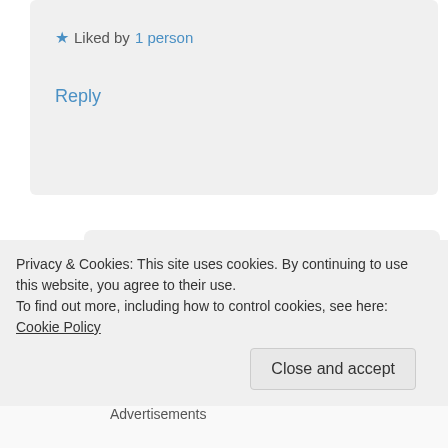★ Liked by 1 person
Reply
namratavijay220
November 6, 2019 at 1:55 pm

It is one of the most important lesson to teach to a child!
Privacy & Cookies: This site uses cookies. By continuing to use this website, you agree to their use.
To find out more, including how to control cookies, see here: Cookie Policy
Close and accept
Advertisements